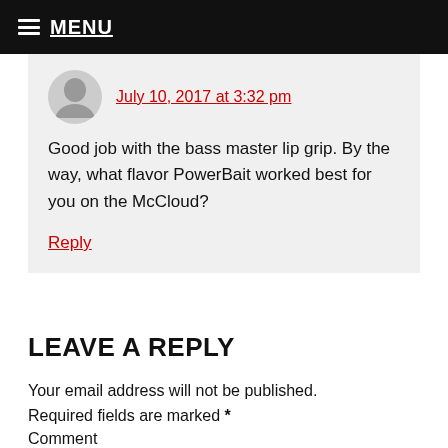MENU
July 10, 2017 at 3:32 pm
Good job with the bass master lip grip. By the way, what flavor PowerBait worked best for you on the McCloud?
Reply
LEAVE A REPLY
Your email address will not be published. Required fields are marked *
Comment